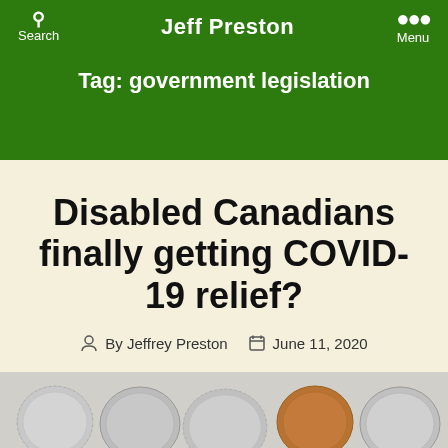Jeff Preston
Tag: government legislation
Disabled Canadians finally getting COVID-19 relief?
By Jeffrey Preston  June 11, 2020
[Figure (photo): A collection of Canadian coins seen from above, close-up photograph]